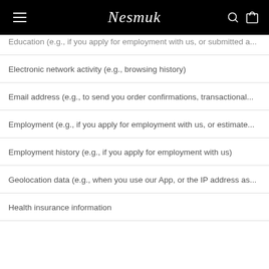Nesmuk
Education (e.g., if you apply for employment with us, or submitted a...
Electronic network activity (e.g., browsing history)
Email address (e.g., to send you order confirmations, transactional...
Employment (e.g., if you apply for employment with us, or estimate...
Employment history (e.g., if you apply for employment with us)
Geolocation data (e.g., when you use our App, or the IP address as...
Health insurance information